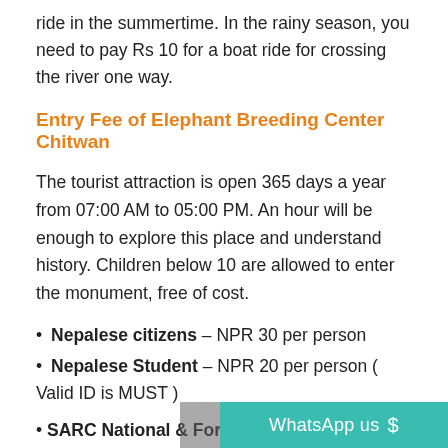ride in the summertime. In the rainy season, you need to pay Rs 10 for a boat ride for crossing the river one way.
Entry Fee of Elephant Breeding Center Chitwan
The tourist attraction is open 365 days a year from 07:00 AM to 05:00 PM. An hour will be enough to explore this place and understand history. Children below 10 are allowed to enter the monument, free of cost.
• Nepalese citizens – NPR 30 per person
• Nepalese Student – NPR 20 per person ( Valid ID is MUST )
• SARC National & Foreigner — NPR 50…